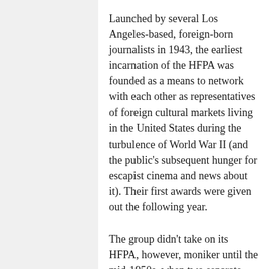Launched by several Los Angeles-based, foreign-born journalists in 1943, the earliest incarnation of the HFPA was founded as a means to network with each other as representatives of foreign cultural markets living in the United States during the turbulence of World War II (and the public's subsequent hunger for escapist cinema and news about it). Their first awards were given out the following year.
The group didn't take on its HFPA, however, moniker until the mid-1950s, when two separate sub-factions of the original group with clashing ideologies — The Hollywood Foreign Correspondents Association and the Foreign Press Association of Hollywood — united over concrete guidelines for membership as the group evolved over the